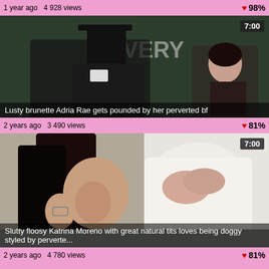1 year ago  4 928 views   ❤ 98%
[Figure (screenshot): Video thumbnail showing a man in a black top hat sitting in a chair facing a brunette woman in a classroom with a chalkboard in the background. Duration badge shows 7:00. Title overlay: Lusty brunette Adria Rae gets pounded by her perverted bf]
2 years ago  3 490 views   ❤ 81%
[Figure (screenshot): Video thumbnail showing a woman with long dark hair and another person in white. Duration badge shows 7:00. Title overlay: Slutty floosy Katrina Moreno with great natural tits loves being doggy styled by perverte...]
2 years ago  4 780 views   ❤ 81%